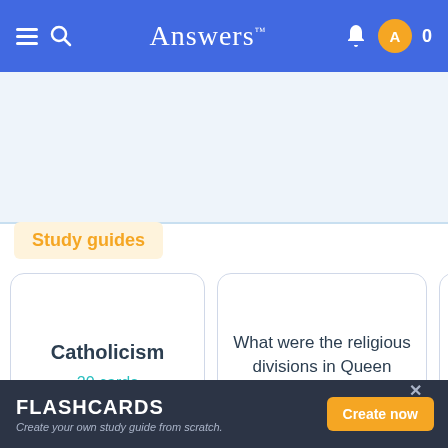Answers™
[Figure (screenshot): Light blue advertisement banner area at top of page content]
Study guides
Catholicism
20 cards
What were the religious divisions in Queen Elizabeth I reign
S
FLASHCARDS
Create your own study guide from scratch.
Create now